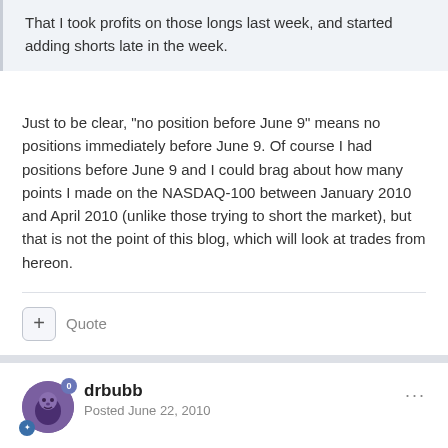That I took profits on those longs last week, and started adding shorts late in the week.
Just to be clear, "no position before June 9" means no positions immediately before June 9. Of course I had positions before June 9 and I could brag about how many points I made on the NASDAQ-100 between January 2010 and April 2010 (unlike those trying to short the market), but that is not the point of this blog, which will look at trades from hereon.
+ Quote
drbubb
Posted June 22, 2010
For the record, here's what happened on Monday: